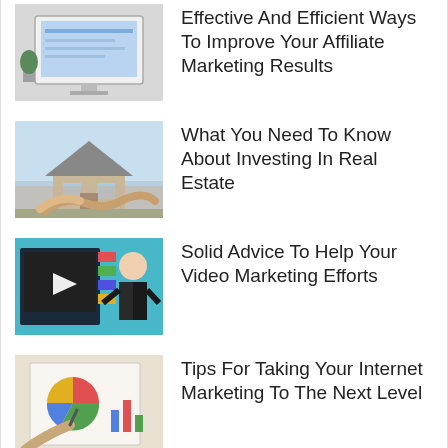Effective And Efficient Ways To Improve Your Affiliate Marketing Results
What You Need To Know About Investing In Real Estate
Solid Advice To Help Your Video Marketing Efforts
Tips For Taking Your Internet Marketing To The Next Level
Social Media Marketing – Keeping Your Customers Engaged And Informed